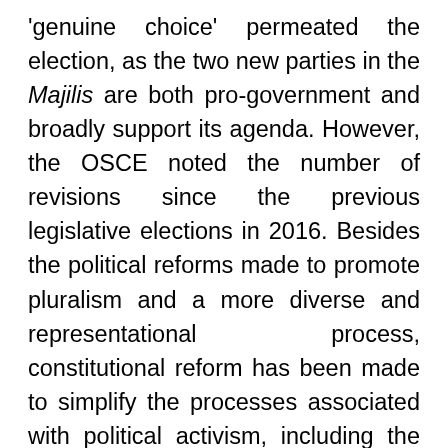'genuine choice' permeated the election, as the two new parties in the Majilis are both pro-government and broadly support its agenda. However, the OSCE noted the number of revisions since the previous legislative elections in 2016. Besides the political reforms made to promote pluralism and a more diverse and representational process, constitutional reform has been made to simplify the processes associated with political activism, including the loosening of freedom of assemblies and speech. The 2020 Law on Peaceful Assemblies altered the wording on outdoor campaign-related gatherings to cite that 'notification' was